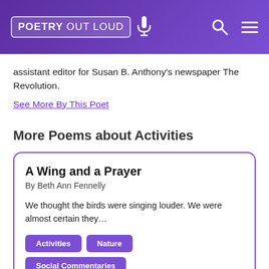POETRY OUT LOUD
assistant editor for Susan B. Anthony's newspaper The Revolution.
See More By This Poet
More Poems about Activities
A Wing and a Prayer
By Beth Ann Fennelly
We thought the birds were singing louder. We were almost certain they…
Activities
Nature
Social Commentaries